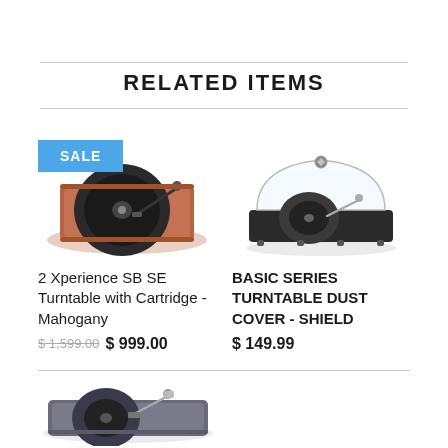RELATED ITEMS
[Figure (photo): Turntable with mahogany base and tonearm, with a blue SALE badge overlay]
2 Xperience SB SE Turntable with Cartridge - Mahogany
$ 1,599.00 $ 999.00
[Figure (photo): Turntable with clear dust cover/shield]
BASIC SERIES TURNTABLE DUST COVER - SHIELD
$ 149.99
[Figure (photo): Partial view of another turntable at the bottom of the page]